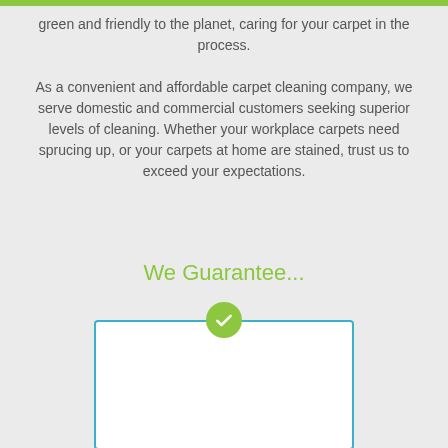green and friendly to the planet, caring for your carpet in the process.

As a convenient and affordable carpet cleaning company, we serve domestic and commercial customers seeking superior levels of cleaning. Whether your workplace carpets need sprucing up, or your carpets at home are stained, trust us to exceed your expectations.
We Guarantee...
[Figure (illustration): A white card/box with a blue border and a green checkmark circle icon centered at the top edge]